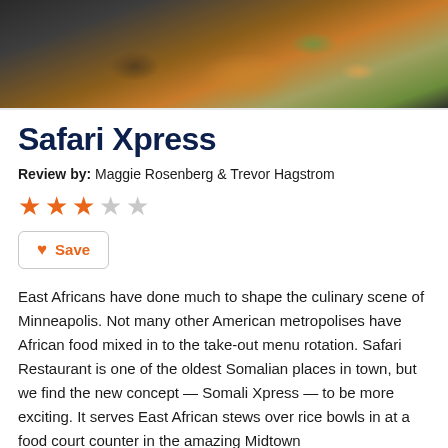[Figure (photo): Close-up photo of a dark plate with East African food including orange/brown stews, green vegetables, and other colorful dishes on a light wooden surface.]
Safari Xpress
Review by: Maggie Rosenberg & Trevor Hagstrom
[Figure (other): 3 out of 5 stars rating — three filled orange stars and two empty gray stars]
Save
East Africans have done much to shape the culinary scene of Minneapolis. Not many other American metropolises have African food mixed in to the take-out menu rotation. Safari Restaurant is one of the oldest Somalian places in town, but we find the new concept — Somali Xpress — to be more exciting. It serves East African stews over rice bowls in at a food court counter in the amazing Midtown Global Market.